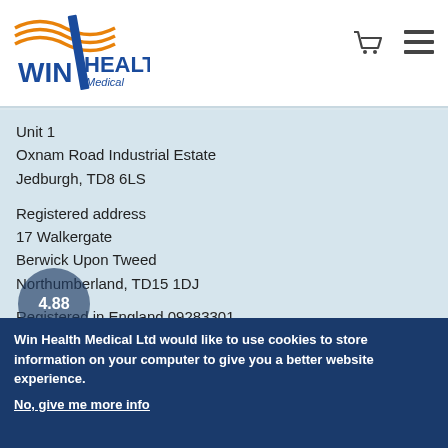[Figure (logo): Win Health Medical logo with orange swoosh and blue text]
Unit 1
Oxnam Road Industrial Estate
Jedburgh, TD8 6LS
Registered address
17 Walkergate
Berwick Upon Tweed
Northumberland, TD15 1DJ
Registered in England 09283301
VAT Registration GB 763 0765 22
Contact us
Freecall: 0808 168 5522
Win Health Medical Ltd would like to use cookies to store information on your computer to give you a better website experience.
No, give me more info